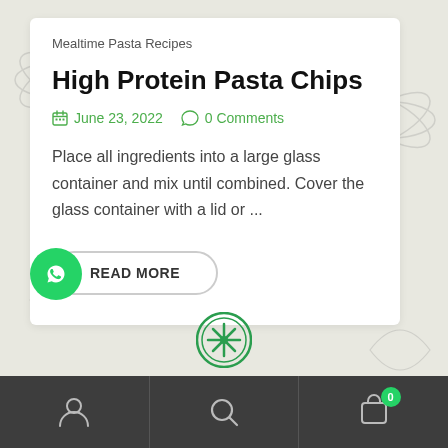Mealtime Pasta Recipes
High Protein Pasta Chips
June 23, 2022   0 Comments
Place all ingredients into a large glass container and mix until combined. Cover the glass container with a lid or ...
READ MORE
[Figure (logo): WhatsApp chat floating action button, green circle with phone/chat icon]
[Figure (logo): Green circular logo with snowflake/asterisk star icon in center]
[Figure (infographic): Bottom navigation bar with user icon, search icon, and shopping bag icon with badge showing 0]